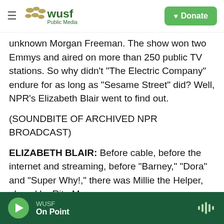WUSF Public Media | Donate
unknown Morgan Freeman. The show won two Emmys and aired on more than 250 public TV stations. So why didn't "The Electric Company" endure for as long as "Sesame Street" did? Well, NPR's Elizabeth Blair went to find out.
(SOUNDBITE OF ARCHIVED NPR BROADCAST)
ELIZABETH BLAIR: Before cable, before the internet and streaming, before "Barney," "Dora" and "Super Why!," there was Millie the Helper, played by Rita Moreno.
(SOUNDBITE OF TV SHOW, "THE ELECTRIC
WUSF | On Point